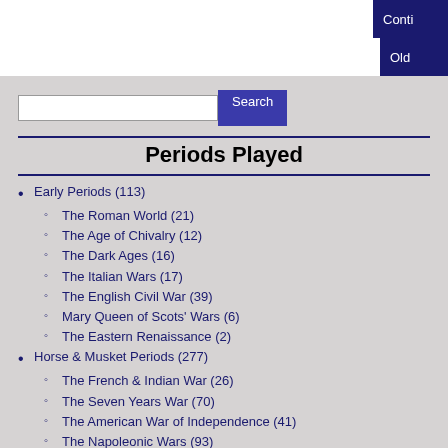Conti
Old
Periods Played
Early Periods (113)
The Roman World (21)
The Age of Chivalry (12)
The Dark Ages (16)
The Italian Wars (17)
The English Civil War (39)
Mary Queen of Scots' Wars (6)
The Eastern Renaissance (2)
Horse & Musket Periods (277)
The French & Indian War (26)
The Seven Years War (70)
The American War of Independence (41)
The Napoleonic Wars (93)
Queen Victoria's Little Wars (46)
Modern Periods (249)